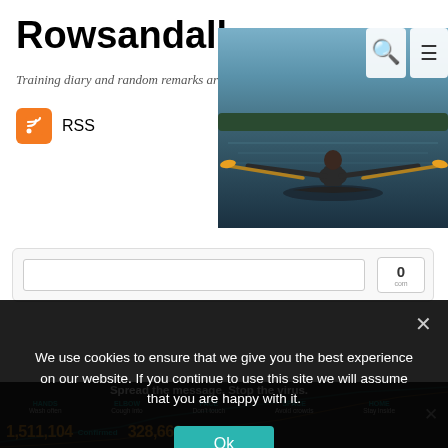Rowsandall
Training diary and random remarks around my rowing
RSS
[Figure (photo): Action photo of a rower on water, taken from behind the rower, with oars extended]
We use cookies to ensure that we give you the best experience on our website. If you continue to use this site we will assume that you are happy with it.
Ok
Spread the message. Stop the virus.
HANDS Wash often   ELBOW Cough into   FACE Don't touch   SPACE Avoid crowds   HOME Stay inside
1,511,104 Confirmed   328,661 Recovered